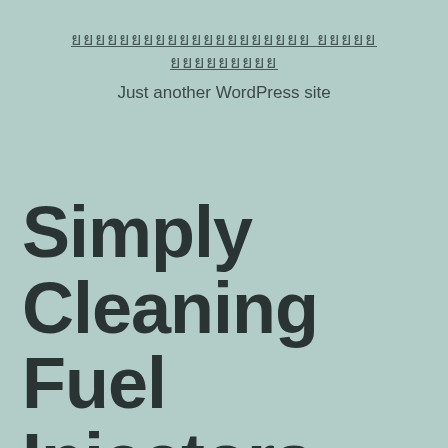ยยยยยยยยยยยยยยยยยยยย ยยยยย ยยยยยยยยย
Just another WordPress site
Simply Cleaning Fuel Injectors Might Fix These